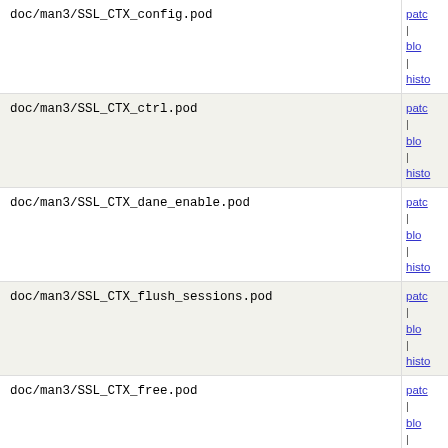doc/man3/SSL_CTX_config.pod | patc | blo | histo
doc/man3/SSL_CTX_ctrl.pod | patc | blo | histo
doc/man3/SSL_CTX_dane_enable.pod | patc | blo | histo
doc/man3/SSL_CTX_flush_sessions.pod | patc | blo | histo
doc/man3/SSL_CTX_free.pod | patc | blo | histo
doc/man3/SSL_CTX_get0_param.pod | patc | blo | histo
doc/man3/SSL_CTX_get_verify_mode.pod | patc | blo | histo
doc/man3/SSL_CTX_has_client_custom_ext.pod | patc | blo | histo
doc/man3/SSL_CTX_load_verify_locations.pod | patc | blo | histo
doc/man3/SSL_CTX_new.pod | patc